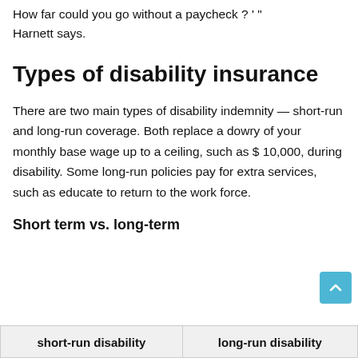How far could you go without a paycheck ? ' " Harnett says.
Types of disability insurance
There are two main types of disability indemnity — short-run and long-run coverage. Both replace a dowry of your monthly base wage up to a ceiling, such as $ 10,000, during disability. Some long-run policies pay for extra services, such as educate to return to the work force.
Short term vs. long-term
| short-run disability | long-run disability |
| --- | --- |